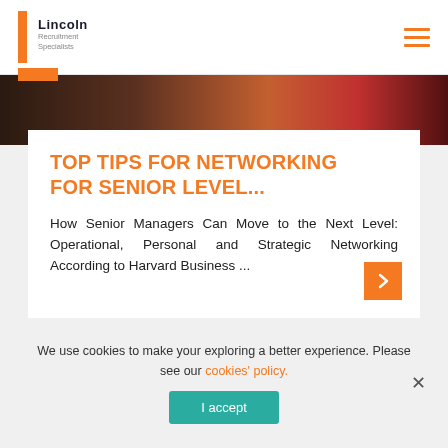Lincoln Recruitment Specialists
[Figure (photo): Partial photo of people, cropped darkly, showing faces and red clothing]
TOP TIPS FOR NETWORKING FOR SENIOR LEVEL...
How Senior Managers Can Move to the Next Level: Operational, Personal and Strategic Networking According to Harvard Business ...
We use cookies to make your exploring a better experience. Please see our cookies' policy.
I accept